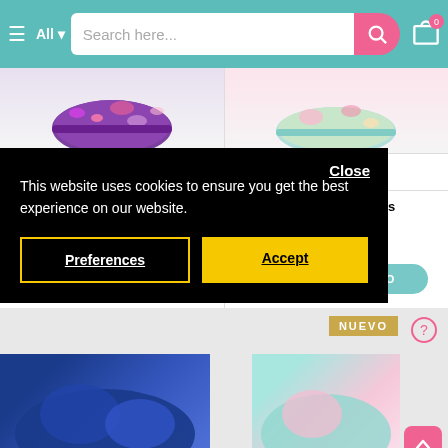All  Search here...
Gabol
Mochila Abril
29.90€  39.90€
AÑADIR AL CARRO
Gabol
Mochila Aloha Tres Compartimentos
29.90€  30.99€
AÑADIR AL CARRO
NUEVO
Close
This website uses cookies to ensure you get the best experience on our website.
Preferences
Accept